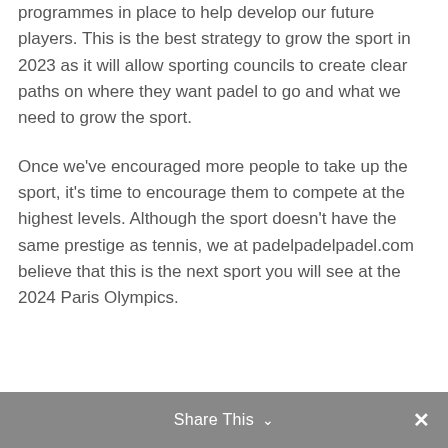programmes in place to help develop our future players. This is the best strategy to grow the sport in 2023 as it will allow sporting councils to create clear paths on where they want padel to go and what we need to grow the sport.
Once we've encouraged more people to take up the sport, it's time to encourage them to compete at the highest levels. Although the sport doesn't have the same prestige as tennis, we at padelpadelpadel.com believe that this is the next sport you will see at the 2024 Paris Olympics.
Share This ∨  ✕